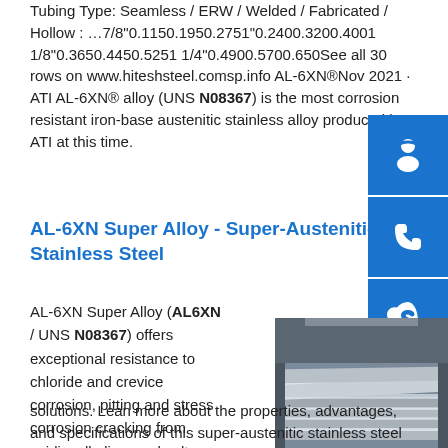Tubing Type: Seamless / ERW / Welded / Fabricated / Hollow : …7/8"0.1150.1950.2751"0.2400.3200.4001 1/8"0.3650.4450.5251 1/4"0.4900.5700.650See all 30 rows on www.hiteshsteel.comsp.info AL-6XN®Nov 2021 · ATI AL-6XN® alloy (UNS N08367) is the most corrosion resistant iron-base austenitic stainless alloy produced by ATI at this time.
AL-6XN Super Alloy - Super-Austenitic Stainless Steel
AL-6XN Super Alloy (AL6XN / UNS N08367) offers exceptional resistance to chloride and crevice corrosion, pitting and stress corrosion cracking from acidic, alkaline, and salt solutions. Lean more about the properties, advantages, and specifications of this super-austenitic stainless steel
[Figure (photo): Stack of stainless steel sheets/plates in an industrial warehouse setting]